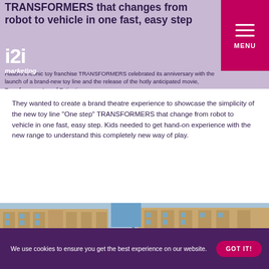TRANSFORMERS that changes from robot to vehicle in one fast, easy step
Hasbro's iconic toy franchise TRANSFORMERS celebrated its anniversary with the launch of a brand-new toy line and the release of the hotly anticipated movie, Transformers: Age of Extinction.
They wanted to create a brand theatre experience to showcase the simplicity of the new toy line “One step” TRANSFORMERS that change from robot to vehicle in one fast, easy step. Kids needed to get hand-on experience with the new range to understand this completely new way of play.
[Figure (photo): Street-level photo of classical stone buildings against a blue sky]
We use cookies to ensure you get the best experience on our website.